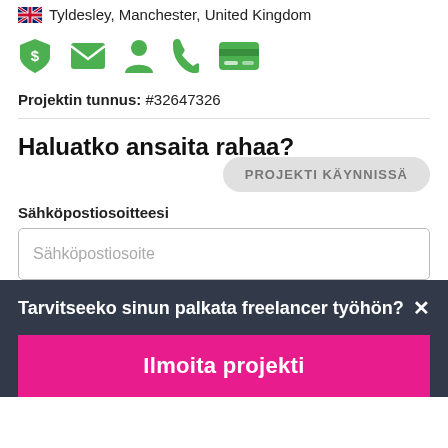Tyldesley, Manchester, United Kingdom
[Figure (infographic): Row of 5 green icons: shield with dollar sign, envelope, person, phone, credit card]
Projektin tunnus: #32647326
Haluatko ansaita rahaa?
PROJEKTI KÄYNNISSÄ
Sähköpostiosoitteesi
Sähköpostiosoite
Tarvitseeko sinun palkata freelancer työhön?
Ilmoita projekti